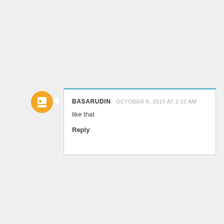BASARUDIN  OCTOBER 8, 2013 AT 2:31 AM
like that
Reply